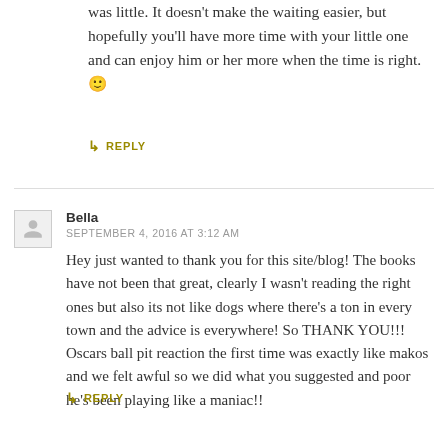was little. It doesn't make the waiting easier, but hopefully you'll have more time with your little one and can enjoy him or her more when the time is right. 🙂
↳ REPLY
Bella
SEPTEMBER 4, 2016 AT 3:12 AM
Hey just wanted to thank you for this site/blog! The books have not been that great, clearly I wasn't reading the right ones but also its not like dogs where there's a ton in every town and the advice is everywhere! So THANK YOU!!! Oscars ball pit reaction the first time was exactly like makos and we felt awful so we did what you suggested and poor he's been playing like a maniac!!
↳ REPLY